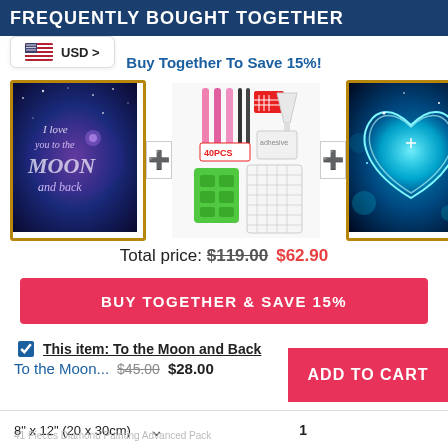FREQUENTLY BOUGHT TOGETHER
USD >
Buy Together To Save 15%!
[Figure (photo): Diamond painting of 'I love you to the Moon and back' with purple/blue galaxy background, framed in gold]
[Figure (photo): Diamond painting tools kit with pink pens, tweezers, tray, wax, funnel, green sorting trays, labeled 40PCS]
[Figure (photo): Diamond painting of glowing blue heart on dark background, framed in gold]
Total price: $119.00  $62.90
BUY TOGETHER & SAVE 15%
☑ This item: To the Moon and Back
To the Moon...  $45.00  $28.00
ADD TO CART
8" x 12" (20 x 30cm)
41 Pieces Diamond Painting Advanced Pack